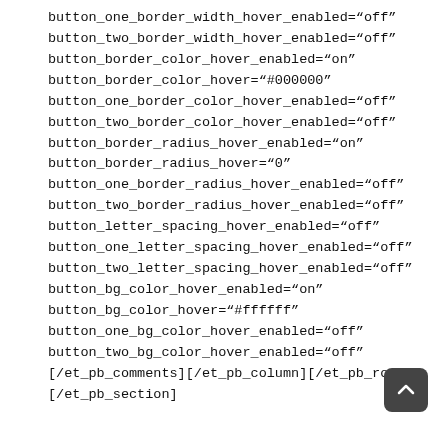button_one_border_width_hover_enabled="off"
button_two_border_width_hover_enabled="off"
button_border_color_hover_enabled="on"
button_border_color_hover="#000000"
button_one_border_color_hover_enabled="off"
button_two_border_color_hover_enabled="off"
button_border_radius_hover_enabled="on"
button_border_radius_hover="0"
button_one_border_radius_hover_enabled="off"
button_two_border_radius_hover_enabled="off"
button_letter_spacing_hover_enabled="off"
button_one_letter_spacing_hover_enabled="off"
button_two_letter_spacing_hover_enabled="off"
button_bg_color_hover_enabled="on"
button_bg_color_hover="#ffffff"
button_one_bg_color_hover_enabled="off"
button_two_bg_color_hover_enabled="off"
[/et_pb_comments][/et_pb_column][/et_pb_row]
[/et_pb_section]